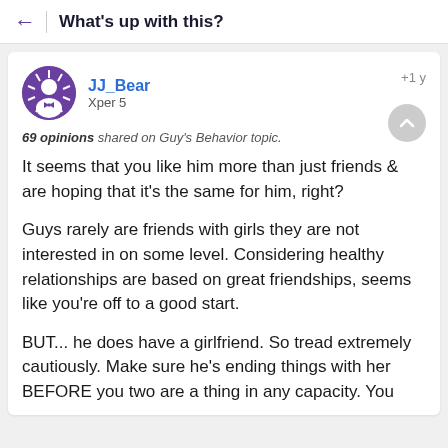What's up with this?
JJ_Bear
Xper 5
+1 y
69 opinions shared on Guy's Behavior topic.
It seems that you like him more than just friends & are hoping that it's the same for him, right?

Guys rarely are friends with girls they are not interested in on some level. Considering healthy relationships are based on great friendships, seems like you're off to a good start.

BUT... he does have a girlfriend. So tread extremely cautiously. Make sure he's ending things with her BEFORE you two are a thing in any capacity. You